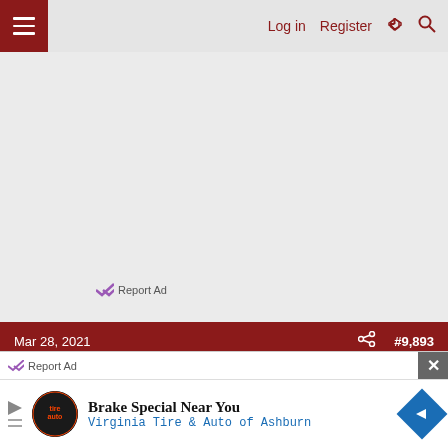Log in  Register
[Figure (screenshot): Gray advertisement placeholder area with 'Report Ad' link at bottom left]
Report Ad
Mar 28, 2021  #9,893
bstnh1
Supporting Members  Supporting Member
Report Ad
[Figure (infographic): Display advertisement: Brake Special Near You - Virginia Tire & Auto of Ashburn with logo and directional arrow]